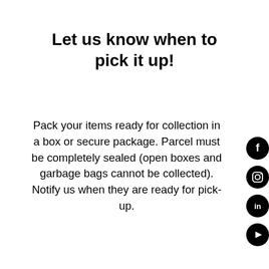Let us know when to pick it up!
Pack your items ready for collection in a box or secure package. Parcel must be completely sealed (open boxes and garbage bags cannot be collected). Notify us when they are ready for pick-up.
[Figure (infographic): Four social media icons stacked vertically on the right side: Facebook (f), Instagram, LinkedIn (in), YouTube]